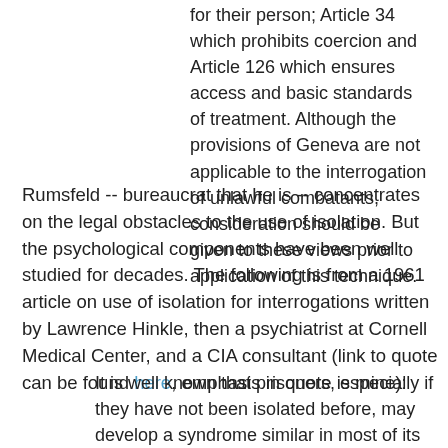for their person; Article 34 which prohibits coercion and Article 126 which ensures access and basic standards of treatment. Although the provisions of Geneva are not applicable to the interrogation of unlawful combatants, consideration should be given to these views prior to application of this technique.
Rumsfeld -- bureaucrat that he is -- concentrates on the legal obstacles to the use of isolation. But the psychological components have been well studied for decades. The following is from a 1961 article on use of isolation for interrogations written by Lawrence Hinkle, then a psychiatrist at Cornell Medical Center, and a CIA consultant (link to quote can be found here, emphasis in quote is mine):
It is well known that prisoners, especially if they have not been isolated before, may develop a syndrome similar in most of its features to the “brain syndrome”.... They become dull, apathetic, and in due time they become disoriented and confused; their memories become defective and they experience hallucinations and delusions.